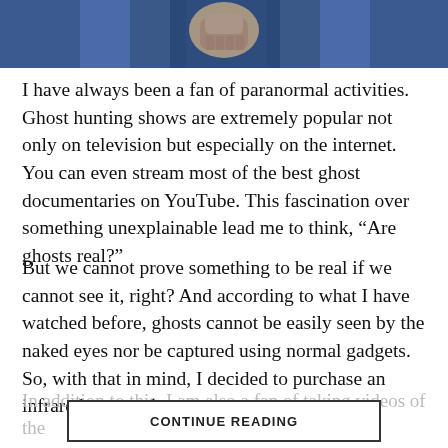[Figure (photo): Partial photo of a person in a blue shirt, appears to be showing a fist or holding weights, cropped at top of page]
I have always been a fan of paranormal activities. Ghost hunting shows are extremely popular not only on television but especially on the internet. You can even stream most of the best ghost documentaries on YouTube. This fascination over something unexplainable lead me to think, “Are ghosts real?”
But we cannot prove something to be real if we cannot see it, right? And according to what I have watched before, ghosts cannot be easily seen by the naked eyes nor be captured using normal gadgets. So, with that in mind, I decided to purchase an infrared camcorder.
In addition to this, I am also a fan of taking videos of the
CONTINUE READING